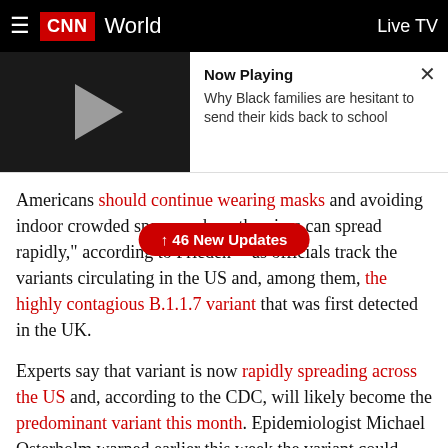CNN World — Live TV
[Figure (screenshot): Video player thumbnail showing play button on dark background with 'Now Playing' panel: 'Why Black families are hesitant to send their kids back to school']
Americans should continue wearing masks and avoiding indoor crowded spaces, where the virus can spread rapidly," according to Frieden -- as officials track the variants circulating in the US and, among them, the highly contagious B.1.1.7 variant that was first detected in the UK.
Experts say that variant is now rapidly spreading across the US and, according to the CDC, will likely become the predominant variant this month. Epidemiologist Michael Osterholm warned earlier this week the variant could help fuel another dangerous